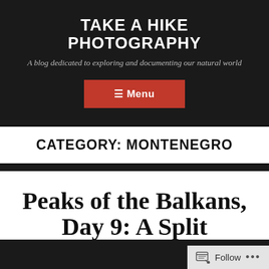TAKE A HIKE PHOTOGRAPHY
A blog dedicated to exploring and documenting our natural world
≡ Menu
CATEGORY: MONTENEGRO
Peaks of the Balkans, Day 9: A Split